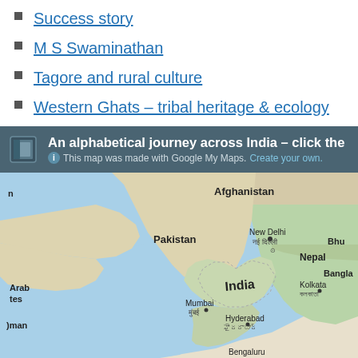Success story
M S Swaminathan
Tagore and rural culture
Western Ghats – tribal heritage & ecology
[Figure (map): Google My Maps embed showing a map of India and surrounding countries including Afghanistan, Pakistan, Nepal, Bangladesh, and partial views of Bhutan, Oman, and Arab states. Labeled cities include New Delhi (नई दिल्ली), Mumbai (मुंबई), Kolkata (কলকাতা), Hyderabad (హైదరాబాద్), and Bengaluru. The map header reads 'An alphabetical journey across India – click the' with subtitle 'This map was made with Google My Maps. Create your own.']